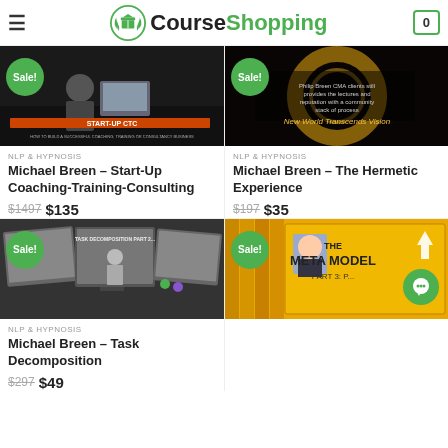CourseShopping
[Figure (screenshot): Product image for Start-Up CTC coaching course with a man at a desk]
NLP & HYPNOSIS
Michael Breen – Start-Up Coaching-Training-Consulting
$1497  $135
[Figure (screenshot): Dark circular product image for The Hermetic Experience course]
NLP & HYPNOSIS
Michael Breen – The Hermetic Experience
$197  $35
[Figure (screenshot): Video screenshots for Task Decomposition course showing a presenter]
NLP & HYPNOSIS
Michael Breen – Task Decomposition
$297  $49
[Figure (screenshot): Yellow DVD box set image for The Meta Model Part 3 course]